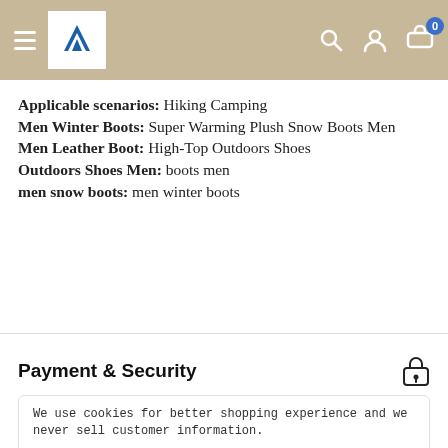Navigation bar with hamburger menu, logo, search, account, and cart icons
Applicable scenarios: Hiking Camping
Men Winter Boots: Super Warming Plush Snow Boots Men
Men Leather Boot: High-Top Outdoors Shoes
Outdoors Shoes Men: boots men
men snow boots: men winter boots
Payment & Security
We use cookies for better shopping experience and we never sell customer information.
Your payment information is processed securely. We do